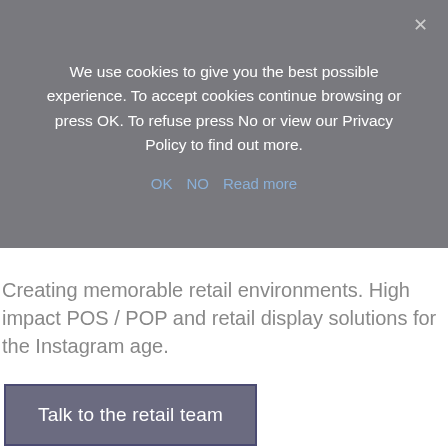We use cookies to give you the best possible experience. To accept cookies continue browsing or press OK. To refuse press No or view our Privacy Policy to find out more.
OK   NO   Read more
Creating memorable retail environments. High impact POS / POP and retail display solutions for the Instagram age.
Talk to the retail team